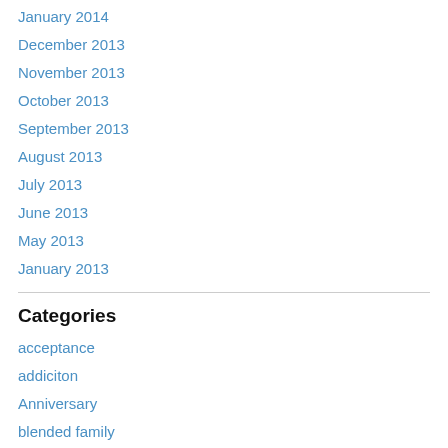January 2014
December 2013
November 2013
October 2013
September 2013
August 2013
July 2013
June 2013
May 2013
January 2013
Categories
acceptance
addiciton
Anniversary
blended family
Change
Coffee for the Heart